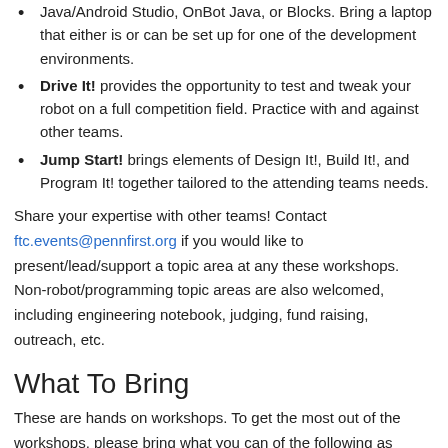Java/Android Studio, OnBot Java, or Blocks. Bring a laptop that either is or can be set up for one of the development environments.
Drive It! provides the opportunity to test and tweak your robot on a full competition field. Practice with and against other teams.
Jump Start! brings elements of Design It!, Build It!, and Program It! together tailored to the attending teams needs.
Share your expertise with other teams! Contact ftc.events@pennfirst.org if you would like to present/lead/support a topic area at any these workshops. Non-robot/programming topic areas are also welcomed, including engineering notebook, judging, fund raising, outreach, etc.
What To Bring
These are hands on workshops. To get the most out of the workshops, please bring what you can of the following as